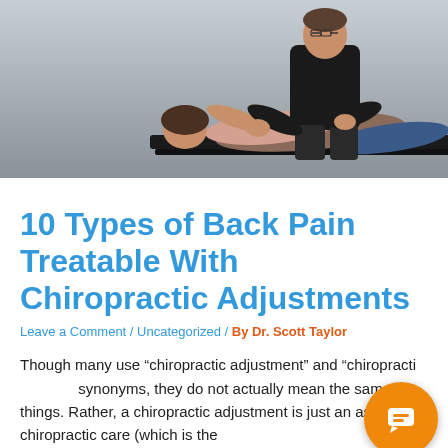[Figure (photo): A chiropractor in a black shirt performing a spinal adjustment on a patient lying on a chiropractic table. The patient is a woman lying on her side while the practitioner applies pressure to her back/spine area. Background is light gray.]
10 Types of Back Pain Treatable With Chiropractic Adjustments
Leave a Comment / Uncategorized / By Dr. Scott Taylor
Though many use “chiropractic adjustment” and “chiropractic” as synonyms, they do not actually mean the same things. Rather, a chiropractic adjustment is just an aspect of chiropractic care (which is the